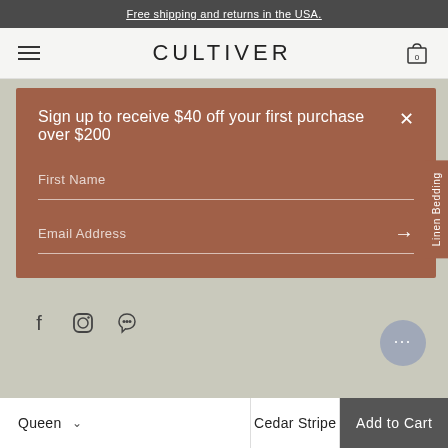Free shipping and returns in the USA.
CULTIVER
[Figure (screenshot): Modal popup with terracotta/brown background offering $40 off first purchase over $200, with First Name and Email Address input fields and a close button]
First Name
Email Address
[Figure (infographic): Social media icons: Facebook, Instagram, Pinterest]
Queen   v   Cedar Stripe
Add to Cart